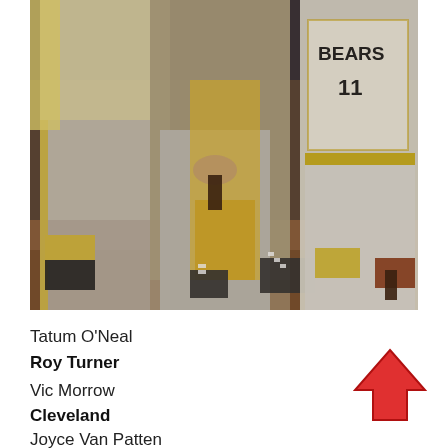[Figure (photo): Baseball scene photo showing adults and children in Bears uniforms (number 11 visible) on a dirt field. Players wearing yellow/gold and white uniforms with Bears text on jersey.]
Tatum O'Neal
Roy Turner
Vic Morrow
Cleveland
Joyce Van Patten
[Figure (other): Red upward-pointing arrow icon]